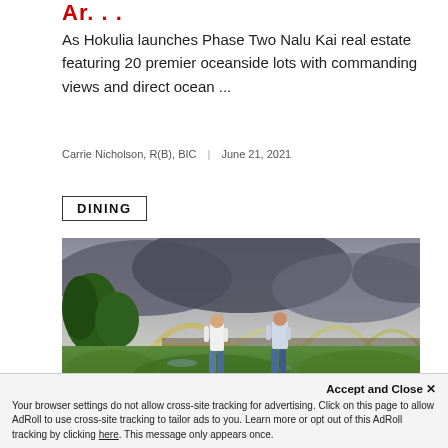...
As Hokulia launches Phase Two Nalu Kai real estate featuring 20 premier oceanside lots with commanding views and direct ocean ...
Carrie Nicholson, R(B), BIC  |  June 21, 2021
DINING
[Figure (photo): Two men standing in a green farm field with hoop greenhouses and dramatic cloudy sky in the background]
Accept and Close ✕
Your browser settings do not allow cross-site tracking for advertising. Click on this page to allow AdRoll to use cross-site tracking to tailor ads to you. Learn more or opt out of this AdRoll tracking by clicking here. This message only appears once.
Meet The Great Honolulu Executive...